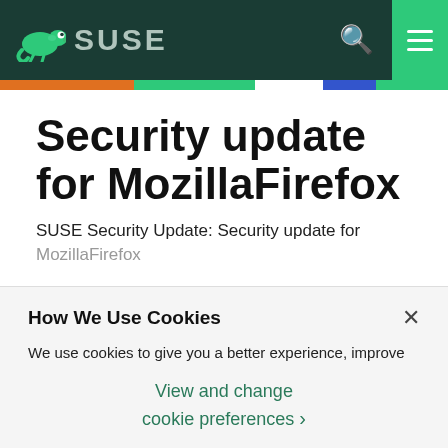SUSE
Security update for MozillaFirefox
SUSE Security Update: Security update for MozillaFirefox
How We Use Cookies
We use cookies to give you a better experience, improve performance and analyze traffic. By using our website you agree to our use of cookies.
View and change cookie preferences >